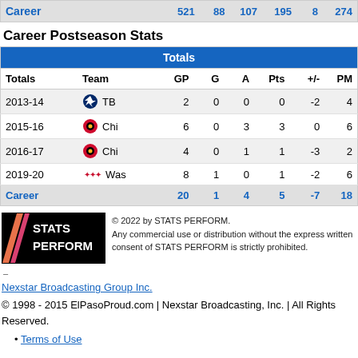| Career |  | 521 | 88 | 107 | 195 | 8 | 274 |
| --- | --- | --- | --- | --- | --- | --- | --- |
| Career |  | 521 | 88 | 107 | 195 | 8 | 274 |
Career Postseason Stats
| Totals | Team | GP | G | A | Pts | +/- | PM |
| --- | --- | --- | --- | --- | --- | --- | --- |
| 2013-14 | TB | 2 | 0 | 0 | 0 | -2 | 4 |
| 2015-16 | Chi | 6 | 0 | 3 | 3 | 0 | 6 |
| 2016-17 | Chi | 4 | 0 | 1 | 1 | -3 | 2 |
| 2019-20 | Was | 8 | 1 | 0 | 1 | -2 | 6 |
| Career |  | 20 | 1 | 4 | 5 | -7 | 18 |
[Figure (logo): STATS PERFORM logo — black background with orange/pink diagonal stripes and white text]
© 2022 by STATS PERFORM. Any commercial use or distribution without the express written consent of STATS PERFORM is strictly prohibited.
–
Nexstar Broadcasting Group Inc.
© 1998 - 2015 ElPasoProud.com | Nexstar Broadcasting, Inc. | All Rights Reserved.
Terms of Use